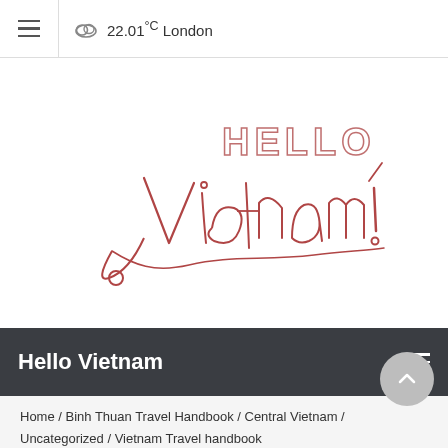22.01°C London
[Figure (illustration): Hello Vietnam! decorative script/lettering logo in red/pink outline style]
Hello Vietnam
Home / Binh Thuan Travel Handbook / Central Vietnam / Uncategorized / Vietnam Travel handbook